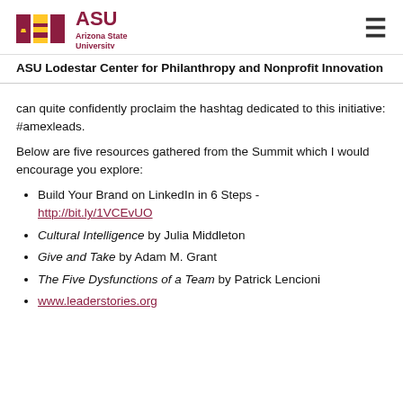[Figure (logo): ASU Arizona State University logo with gold and maroon block letters and text]
ASU Lodestar Center for Philanthropy and Nonprofit Innovation
can quite confidently proclaim the hashtag dedicated to this initiative: #amexleads.
Below are five resources gathered from the Summit which I would encourage you explore:
Build Your Brand on LinkedIn in 6 Steps - http://bit.ly/1VCEvUO
Cultural Intelligence by Julia Middleton
Give and Take by Adam M. Grant
The Five Dysfunctions of a Team by Patrick Lencioni
www.leaderstories.org